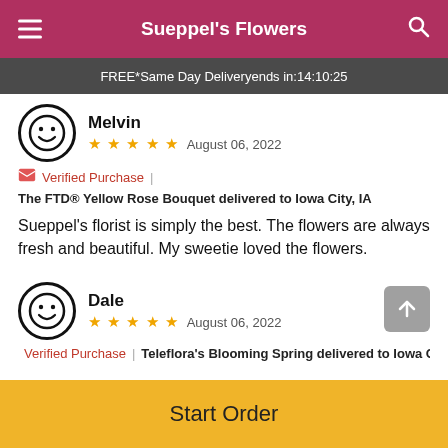Sueppel's Flowers
FREE* Same Day Delivery ends in: 14:10:25
Melvin
★★★★★  August 06, 2022
Verified Purchase | The FTD® Yellow Rose Bouquet delivered to Iowa City, IA
Sueppel's florist is simply the best. The flowers are always fresh and beautiful. My sweetie loved the flowers.
Dale
★★★★★  August 06, 2022
Verified Purchase | Teleflora's Blooming Spring delivered to Iowa City
Start Order